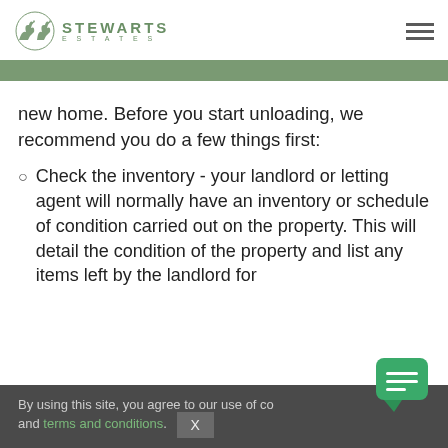STEWARTS ESTATES
new home. Before you start unloading, we recommend you do a few things first:
Check the inventory - your landlord or letting agent will normally have an inventory or schedule of condition carried out on the property. This will detail the condition of the property and list any items left by the landlord for
By using this site, you agree to our use of cookies and terms and conditions.